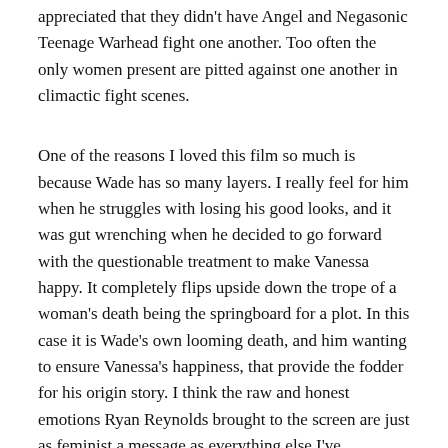appreciated that they didn't have Angel and Negasonic Teenage Warhead fight one another. Too often the only women present are pitted against one another in climactic fight scenes.
One of the reasons I loved this film so much is because Wade has so many layers. I really feel for him when he struggles with losing his good looks, and it was gut wrenching when he decided to go forward with the questionable treatment to make Vanessa happy. It completely flips upside down the trope of a woman's death being the springboard for a plot. In this case it is Wade's own looming death, and him wanting to ensure Vanessa's happiness, that provide the fodder for his origin story. I think the raw and honest emotions Ryan Reynolds brought to the screen are just as feminist a message as everything else I've mentioned. Men can be vulnerable, they can be vain, and they can be afraid of judgement, just as women are so often depicted as being.